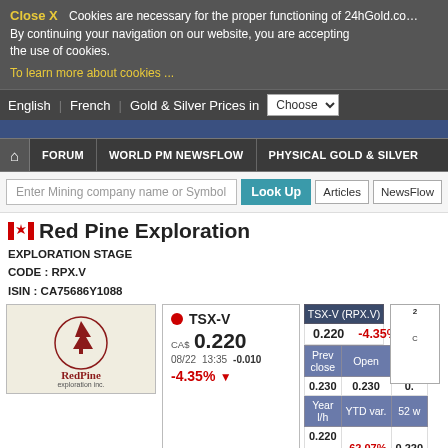Close X  Cookies are necessary for the proper functioning of 24hGold.com. By continuing your navigation on our website, you are accepting the use of cookies.
To learn more about cookies ...
English  French  Gold & Silver Prices in  Choose
FORUM  WORLD PM NEWSFLOW  PHYSICAL GOLD & SILVER
Enter Mining company name or Symbol  Look Up  Articles  NewsFlow
Red Pine Exploration
EXPLORATION STAGE
CODE : RPX.V
ISIN : CA75686Y1088
[Figure (logo): Red Pine Exploration Inc. logo — red pine tree in circle, company name below]
| TSX-V (RPX.V) |  |
| --- | --- |
| 0.220 | -4.35% |
| Prev close | Open | L |
| 0.230 | 0.230 | 0. |
| Year l/h | YTD var. | 52 w |
| 0.220 -  0.580 | -62.07% | 0.220 |
TSX-V  CA$ 0.220  08/22  13:35  -0.010  -4.35%